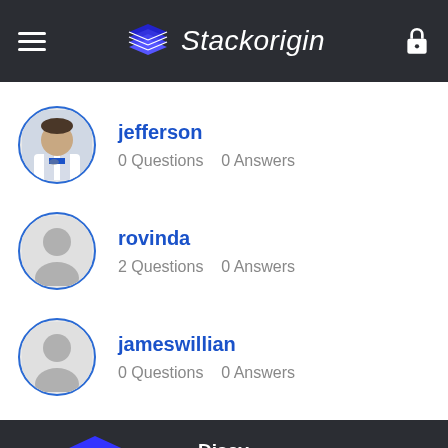Stackorigin
jefferson
0 Questions   0 Answers
rovinda
2 Questions   0 Answers
jameswillian
0 Questions   0 Answers
Discy
Stackorigin is the world's largest Q&A networking site, Stackorigin community brings you the collaboration of all the various Questions and the related